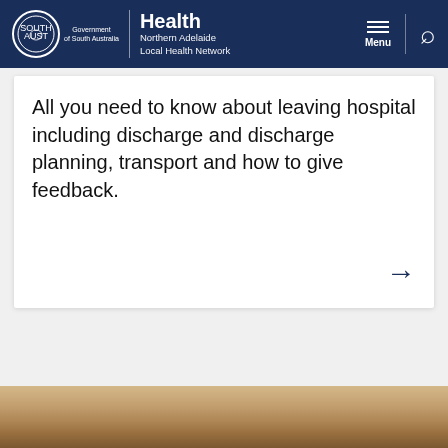Health Northern Adelaide Local Health Network — Government of South Australia
All you need to know about leaving hospital including discharge and discharge planning, transport and how to give feedback.
[Figure (photo): Partial photo strip at the bottom of the page showing what appears to be a person, cropped and partially visible]